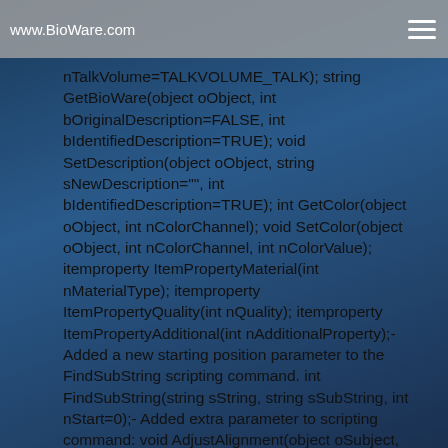www.BioWare.com
nTalkVolume=TALKVOLUME_TALK); string GetBioWare(object oObject, int bOriginalDescription=FALSE, int bIdentifiedDescription=TRUE); void SetDescription(object oObject, string sNewDescription="", int bIdentifiedDescription=TRUE); int GetColor(object oObject, int nColorChannel); void SetColor(object oObject, int nColorChannel, int nColorValue); itemproperty ItemPropertyMaterial(int nMaterialType); itemproperty ItemPropertyQuality(int nQuality); itemproperty ItemPropertyAdditional(int nAdditionalProperty);- Added a new starting position parameter to the FindSubString scripting command. int FindSubString(string sString, string sSubString, int nStart=0);- Added extra parameter to scripting command: void AdjustAlignment(object oSubject, int nAlignment, int nShift, int bAllPartyMembers=TRUE);- Added new constant VFX_BEAM_DISINTEGRATE for